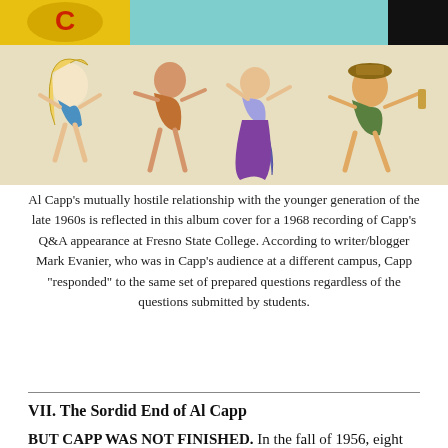[Figure (illustration): Comic/cartoon illustration showing animated figures in dynamic poses, with a teal banner at top, yellow-green circle logo at top left, and black rectangle at top right.]
Al Capp's mutually hostile relationship with the younger generation of the late 1960s is reflected in this album cover for a 1968 recording of Capp's Q&A appearance at Fresno State College. According to writer/blogger Mark Evanier, who was in Capp's audience at a different campus, Capp "responded" to the same set of prepared questions regardless of the questions submitted by students.
VII. The Sordid End of Al Capp
BUT CAPP WAS NOT FINISHED. In the fall of 1956, eight months after Fisher's suicide, Al Capp took up the question that the Fisher episode had left hanging over his head. He wrote to Caniff, who was still chair